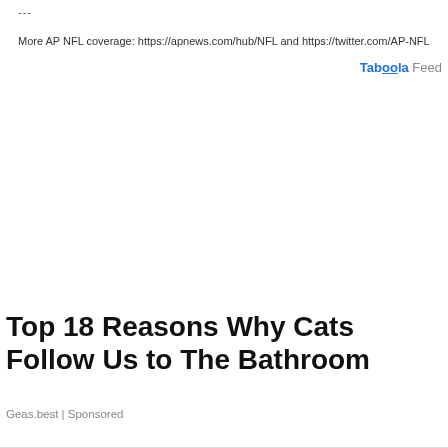---
More AP NFL coverage: https://apnews.com/hub/NFL and https://twitter.com/AP-NFL
Taboola Feed
Top 18 Reasons Why Cats Follow Us to The Bathroom
Geas.best | Sponsored